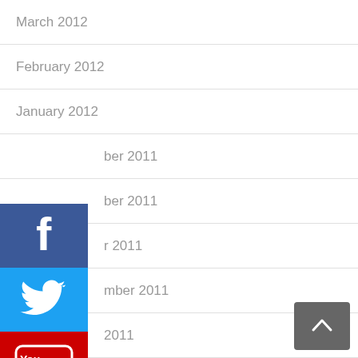March 2012
February 2012
January 2012
December 2011
November 2011
October 2011
September 2011
August 2011
July 2011
June 2011
May 2011
April 2011
March 2011
February 2011
[Figure (screenshot): Social media icons: Facebook, Twitter, YouTube, Flickr overlaid on the left side of the list]
[Figure (screenshot): Back to top arrow button in bottom right corner]